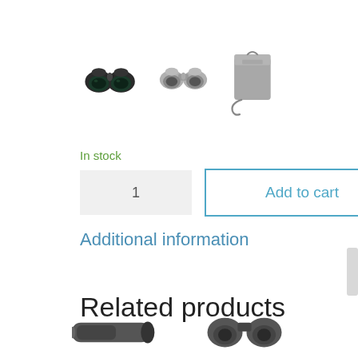[Figure (photo): Three product images: black binoculars (left), gray binoculars (center), gray carry pouch with strap (right)]
In stock
[Figure (screenshot): Quantity input box showing '1' and 'Add to cart' button with blue border]
Additional information
Related products
[Figure (photo): Two partial product images at bottom: telescope/spotting scope (left) and binoculars (right)]